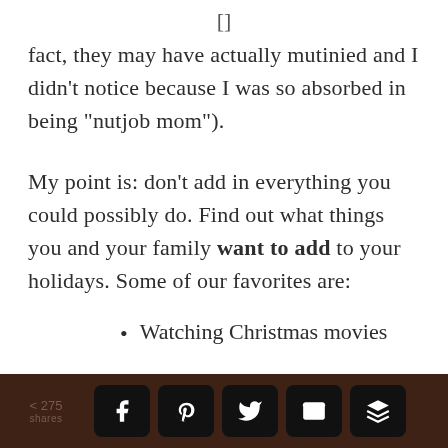[Figure (other): Small bracket or UI icon at top center]
fact, they may have actually mutinied and I didn't notice because I was so absorbed in being "nutjob mom").
My point is: don't add in everything you could possibly do. Find out what things you and your family want to add to your holidays. Some of our favorites are:
Watching Christmas movies
< 275 SHARES  [Facebook] [Pinterest] [Twitter] [Email] [Buffer]